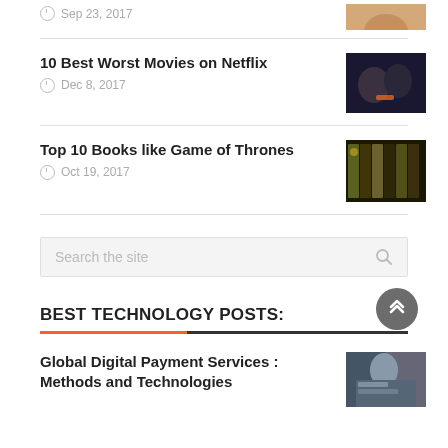Sep 23, 2017
[Figure (photo): Partial thumbnail photo at top right (clipped)]
10 Best Worst Movies on Netflix
Dec 8, 2017
[Figure (photo): Thumbnail of two people sitting together]
Top 10 Books like Game of Thrones
Oct 19, 2017
[Figure (photo): Thumbnail of colorful spice jars]
Search the site
BEST TECHNOLOGY POSTS:
Global Digital Payment Services : Methods and Technologies
[Figure (photo): Thumbnail of person with colorful items]